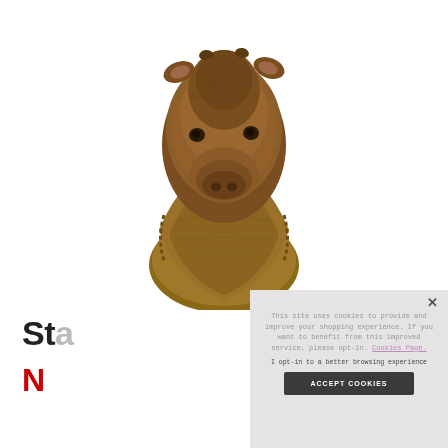[Figure (photo): A taxidermied animal head (appears to be a calf or small bovine) mounted on a wooden shield plaque, photographed against a white background.]
St
N
This site uses cookies to provide and improve your shopping experience. If you want to benefit from this improved service, please opt-in. Cookies Page.
I opt-in to a better browsing experience
ACCEPT COOKIES